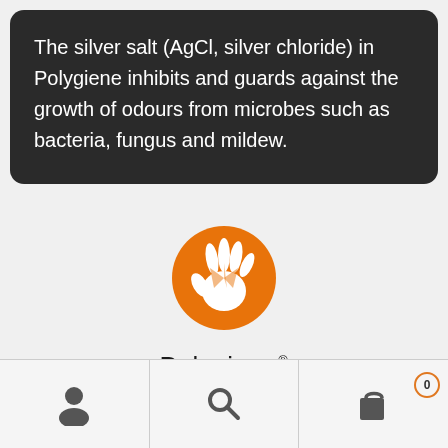The silver salt (AgCl, silver chloride) in Polygiene inhibits and guards against the growth of odours from microbes such as bacteria, fungus and mildew.
[Figure (logo): Polygiene logo: orange circle with white hand/rays symbol, text 'Polygiene' with registered trademark, tagline 'STAY FRESH']